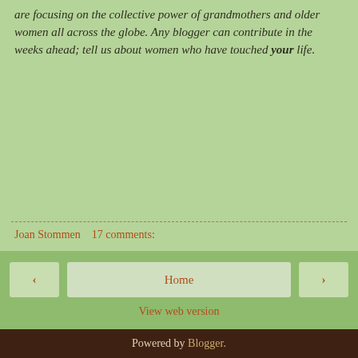are focusing on the collective power of grandmothers and older women all across the globe. Any blogger can contribute in the weeks ahead; tell us about women who have touched your life.
Joan Stommen     17 comments:
Powered by Blogger.